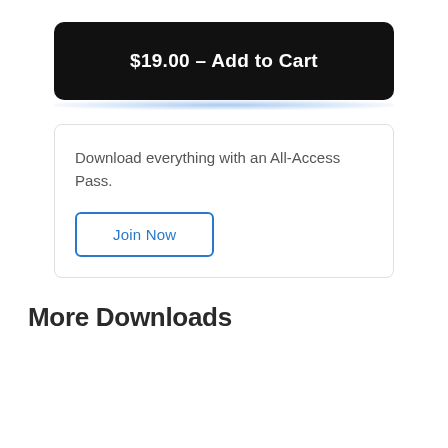$19.00 – Add to Cart
Download everything with an All-Access Pass.
Join Now
More Downloads